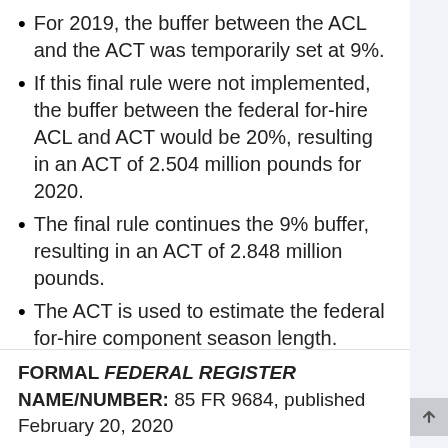For 2019, the buffer between the ACL and the ACT was temporarily set at 9%.
If this final rule were not implemented, the buffer between the federal for-hire ACL and ACT would be 20%, resulting in an ACT of 2.504 million pounds for 2020.
The final rule continues the 9% buffer, resulting in an ACT of 2.848 million pounds.
The ACT is used to estimate the federal for-hire component season length.
These 344,000 extra pounds will likely add 7-8 days to the 2020 season.
NOAA Fisheries will be announcing the 2020 federal for-hire component season soon.
FORMAL FEDERAL REGISTER NAME/NUMBER: 85 FR 9684, published February 20, 2020